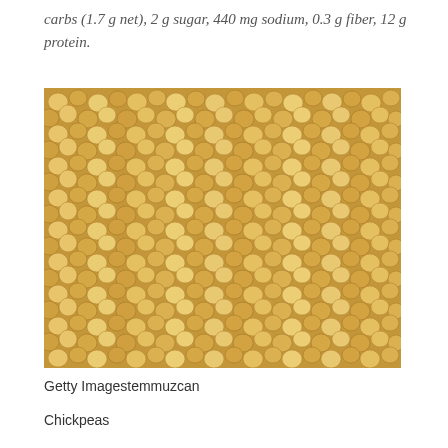carbs (1.7 g net), 2 g sugar, 440 mg sodium, 0.3 g fiber, 12 g protein.
[Figure (photo): Close-up photograph of a large pile of dried chickpeas (garbanzo beans), showing their beige/tan color and irregular round shapes filling the entire frame.]
Getty Imagestemmuzcan
Chickpeas